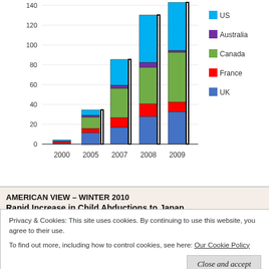[Figure (stacked-bar-chart): Child Abductions to Japan by country]
AMERICAN VIEW – WINTER 2010
Rapid Increase in Child Abductions to Japan
Privacy & Cookies: This site uses cookies. By continuing to use this website, you agree to their use.
To find out more, including how to control cookies, see here: Our Cookie Policy
France, the chart shows the growth in the number of